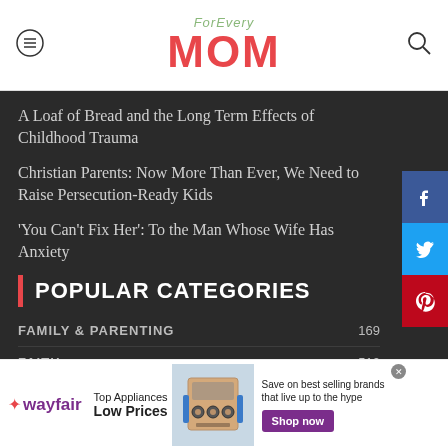For Every MOM
A Loaf of Bread and the Long Term Effects of Childhood Trauma
Christian Parents: Now More Than Ever, We Need to Raise Persecution-Ready Kids
‘You Can’t Fix Her’: To the Man Whose Wife Has Anxiety
POPULAR CATEGORIES
| Category | Count |
| --- | --- |
| FAMILY & PARENTING | 169 |
| FAITH | 510 |
| MOM GOLD | 469 |
| MOTHERHOOD | 353 |